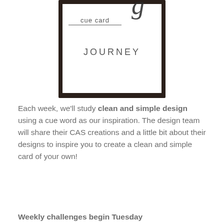[Figure (illustration): A card design stamp/label with thick dark border. Contains 'cue card' text with a decorative script letter, underline, and 'JOURNEY' text centered below.]
Each week, we'll study clean and simple design using a cue word as our inspiration. The design team will share their CAS creations and a little bit about their designs to inspire you to create a clean and simple card of your own!
Weekly challenges begin Tuesday